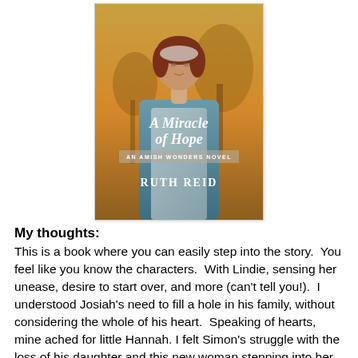[Figure (illustration): Book cover of 'A Miracle of Hope, An Amish Wonders Novel' by Ruth Reid. Shows a young woman in Amish dress with a warm golden-toned background of trees. The title is written in white cursive script, with the author's name RUTH REID in white serif caps at the bottom.]
My thoughts:
This is a book where you can easily step into the story.  You feel like you know the characters.  With Lindie, sensing her unease, desire to start over, and more (can't tell you!).  I understood Josiah's need to fill a hole in his family, without considering the whole of his heart.  Speaking of hearts, mine ached for little Hannah. I felt Simon's struggle with the loss of his daughter and this new woman stepping into her life.
Lindie is lost, Josiah is broken.  What happens when these two come together in an arranged marriage?  Is the love